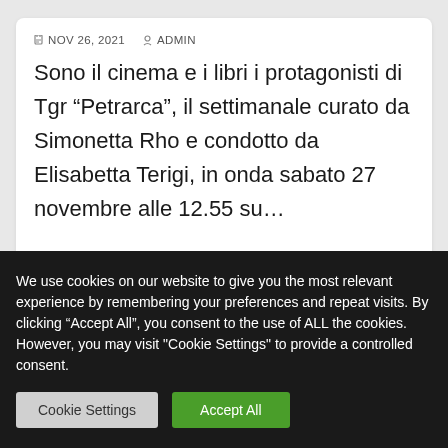NOV 26, 2021   ADMIN
Sono il cinema e i libri i protagonisti di Tgr “Petrarca”, il settimanale curato da Simonetta Rho e condotto da Elisabetta Terigi, in onda sabato 27 novembre alle 12.55 su…
We use cookies on our website to give you the most relevant experience by remembering your preferences and repeat visits. By clicking “Accept All”, you consent to the use of ALL the cookies. However, you may visit "Cookie Settings" to provide a controlled consent.